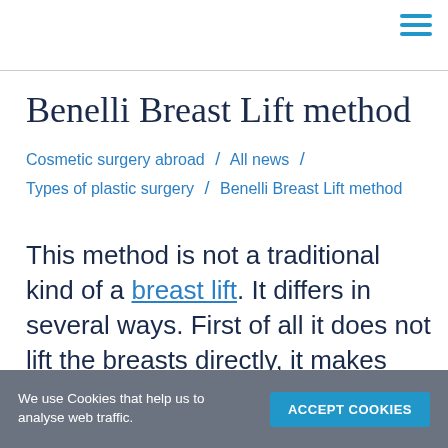Benelli Breast Lift method
Cosmetic surgery abroad / All news / Types of plastic surgery / Benelli Breast Lift method
This method is not a traditional kind of a breast lift. It differs in several ways. First of all it does not lift the breasts directly, it makes them look and feel fuller, richer and firmer.
We use Cookies that help us to analyse web traffic. ACCEPT COOKIES